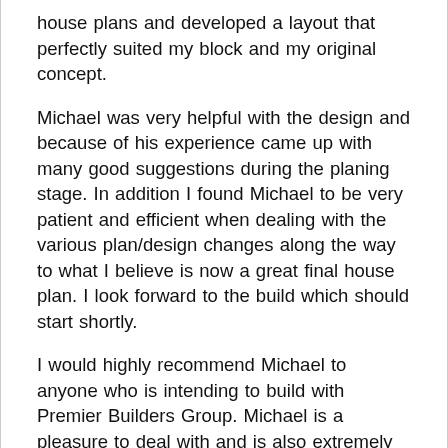house plans and developed a layout that perfectly suited my block and my original concept.
Michael was very helpful with the design and because of his experience came up with many good suggestions during the planing stage. In addition I found Michael to be very patient and efficient when dealing with the various plan/design changes along the way to what I believe is now a great final house plan. I look forward to the build which should start shortly.
I would highly recommend Michael to anyone who is intending to build with Premier Builders Group. Michael is a pleasure to deal with and is also extremely knowledgeable when it comes to planing and design as well as the contractual side of the building process. What I originally thought was going to be an arduous process